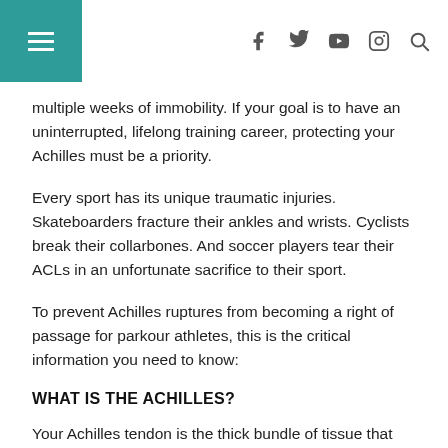Navigation bar with hamburger menu and social icons
multiple weeks of immobility. If your goal is to have an uninterrupted, lifelong training career, protecting your Achilles must be a priority.
Every sport has its unique traumatic injuries. Skateboarders fracture their ankles and wrists. Cyclists break their collarbones. And soccer players tear their ACLs in an unfortunate sacrifice to their sport.
To prevent Achilles ruptures from becoming a right of passage for parkour athletes, this is the critical information you need to know:
WHAT IS THE ACHILLES?
Your Achilles tendon is the thick bundle of tissue that